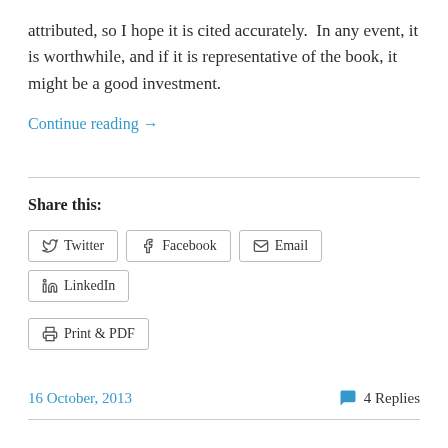attributed, so I hope it is cited accurately.  In any event, it is worthwhile, and if it is representative of the book, it might be a good investment.
Continue reading →
Share this:
Twitter  Facebook  Email  LinkedIn  Print & PDF
16 October, 2013
4 Replies